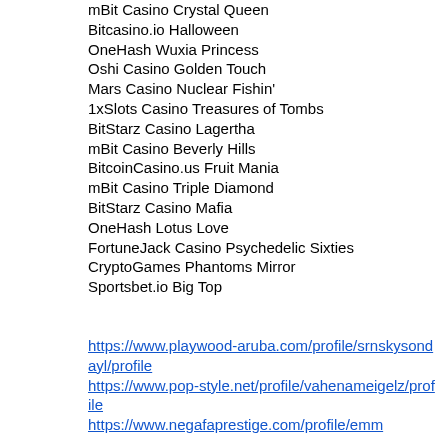mBit Casino Crystal Queen
Bitcasino.io Halloween
OneHash Wuxia Princess
Oshi Casino Golden Touch
Mars Casino Nuclear Fishin'
1xSlots Casino Treasures of Tombs
BitStarz Casino Lagertha
mBit Casino Beverly Hills
BitcoinCasino.us Fruit Mania
mBit Casino Triple Diamond
BitStarz Casino Mafia
OneHash Lotus Love
FortuneJack Casino Psychedelic Sixties
CryptoGames Phantoms Mirror
Sportsbet.io Big Top
https://www.playwood-aruba.com/profile/srnskysondayl/profile
https://www.pop-style.net/profile/vahenameigelz/profile
https://www.negafaprestige.com/profile/emm